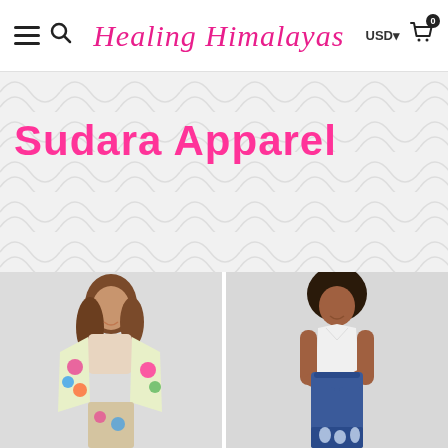Healing Himalayas — USD — Cart (0)
Sudara Apparel
[Figure (photo): Woman smiling wearing a colorful floral kimono over a cream top with matching floral pants, against a light gray background]
[Figure (photo): Woman smiling wearing a white halter top and dark blue wide-leg pants with white elephant print at the hem, against a light gray background]